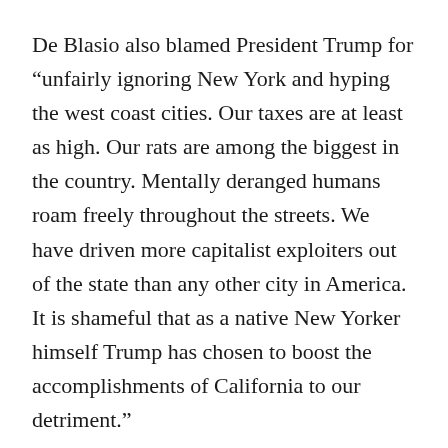De Blasio also blamed President Trump for “unfairly ignoring New York and hyping the west coast cities. Our taxes are at least as high. Our rats are among the biggest in the country. Mentally deranged humans roam freely throughout the streets. We have driven more capitalist exploiters out of the state than any other city in America. It is shameful that as a native New Yorker himself Trump has chosen to boost the accomplishments of California to our detriment.”
As if to rub it in, this week the Trump Administration filed a “Notice of Environment Violation” against San Francisco citing the runoff from human feces and used syringes deposited on the streets by the homeless. San